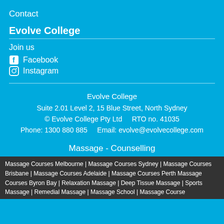Contact
Evolve College
Join us
Facebook
Instagram
Evolve College
Suite 2.01 Level 2, 15 Blue Street, North Sydney
© Evolve College Pty Ltd    RTO no. 41035
Phone: 1300 880 885      Email: evolve@evolvecollege.com
Massage - Counselling
Massage Courses Melbourne | Massage Courses Sydney | Massage Courses Brisbane | Massage Courses Adelaide | Massage Courses Perth Massage Courses Byron Bay | Relaxation Massage | Deep Tissue Massage | Sports Massage | Remedial Massage | Massage School | Massage Course